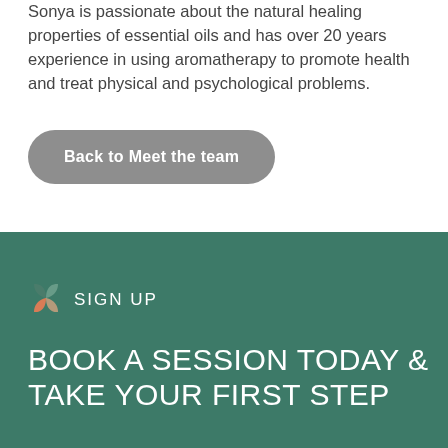Sonya is passionate about the natural healing properties of essential oils and has over 20 years experience in using aromatherapy to promote health and treat physical and psychological problems.
Back to Meet the team
[Figure (logo): Decorative leaf/petal logo icon in orange and green tones]
SIGN UP
BOOK A SESSION TODAY & TAKE YOUR FIRST STEP